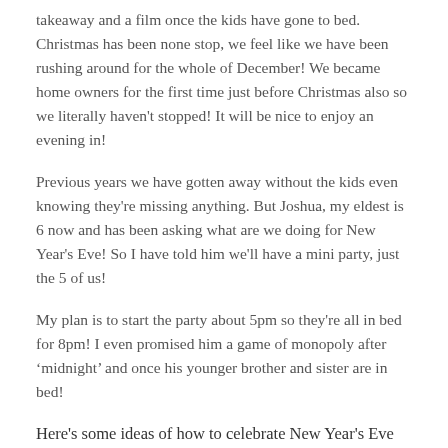takeaway and a film once the kids have gone to bed. Christmas has been none stop, we feel like we have been rushing around for the whole of December! We became home owners for the first time just before Christmas also so we literally haven't stopped! It will be nice to enjoy an evening in!
Previous years we have gotten away without the kids even knowing they're missing anything. But Joshua, my eldest is 6 now and has been asking what are we doing for New Year's Eve! So I have told him we'll have a mini party, just the 5 of us!
My plan is to start the party about 5pm so they're all in bed for 8pm! I even promised him a game of monopoly after 'midnight' and once his younger brother and sister are in bed!
Here's some ideas of how to celebrate New Year's Eve with young children: